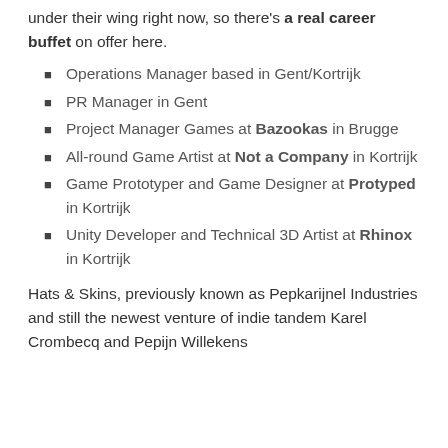under their wing right now, so there's a real career buffet on offer here.
Operations Manager based in Gent/Kortrijk
PR Manager in Gent
Project Manager Games at Bazookas in Brugge
All-round Game Artist at Not a Company in Kortrijk
Game Prototyper and Game Designer at Protyped in Kortrijk
Unity Developer and Technical 3D Artist at Rhinox in Kortrijk
Hats & Skins, previously known as Pepkarijnel Industries and still the newest venture of indie tandem Karel Crombecq and Pepijn Willekens